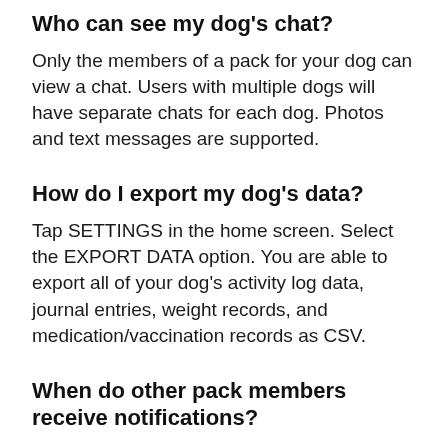Who can see my dog's chat?
Only the members of a pack for your dog can view a chat. Users with multiple dogs will have separate chats for each dog. Photos and text messages are supported.
How do I export my dog's data?
Tap SETTINGS in the home screen. Select the EXPORT DATA option. You are able to export all of your dog's activity log data, journal entries, weight records, and medication/vaccination records as CSV.
When do other pack members receive notifications?